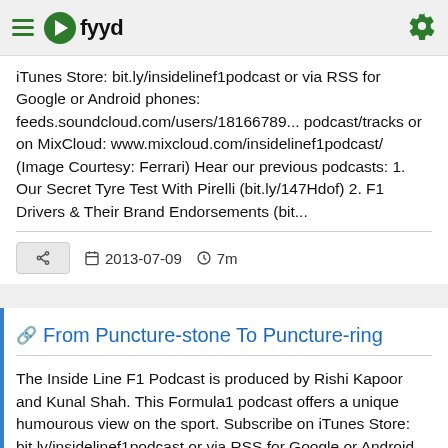fyyd
iTunes Store: bit.ly/insidelinef1podcast or via RSS for Google or Android phones: feeds.soundcloud.com/users/18166789... podcast/tracks or on MixCloud: www.mixcloud.com/insidelinef1podcast/ (Image Courtesy: Ferrari) Hear our previous podcasts: 1. Our Secret Tyre Test With Pirelli (bit.ly/147Hdof) 2. F1 Drivers & Their Brand Endorsements (bit...
2013-07-09  7m
From Puncture-stone To Puncture-ring
The Inside Line F1 Podcast is produced by Rishi Kapoor and Kunal Shah. This Formula1 podcast offers a unique humourous view on the sport. Subscribe on iTunes Store: bit.ly/insidelinef1podcast or via RSS for Google or Android phones: